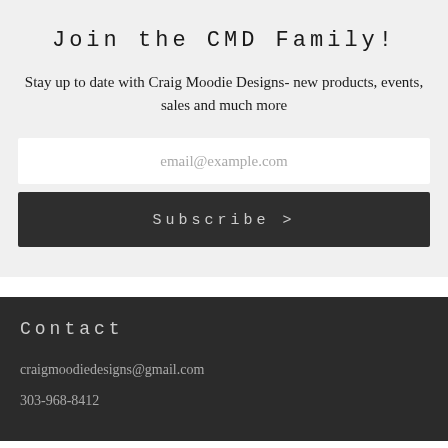Join the CMD Family!
Stay up to date with Craig Moodie Designs- new products, events, sales and much more
email@example.com
Subscribe >
Contact
craigmoodiedesigns@gmail.com
303-968-8412